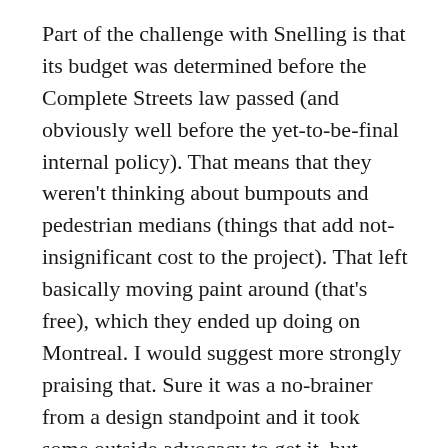Part of the challenge with Snelling is that its budget was determined before the Complete Streets law passed (and obviously well before the yet-to-be-final internal policy). That means that they weren't thinking about bumpouts and pedestrian medians (things that add not-insignificant cost to the project). That left basically moving paint around (that's free), which they ended up doing on Montreal. I would suggest more strongly praising that. Sure it was a no-brainer from a design standpoint and it took some outside advocacy to get it, but Mn/DOT would have never done that just 2 years ago. Things are changing–it just takes more time.